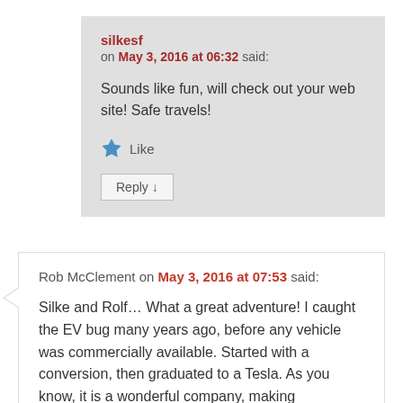silkesf on May 3, 2016 at 06:32 said:
Sounds like fun, will check out your web site! Safe travels!
Like
Reply ↓
Rob McClement on May 3, 2016 at 07:53 said:
Silke and Rolf… What a great adventure! I caught the EV bug many years ago, before any vehicle was commercially available. Started with a conversion, then graduated to a Tesla. As you know, it is a wonderful company, making